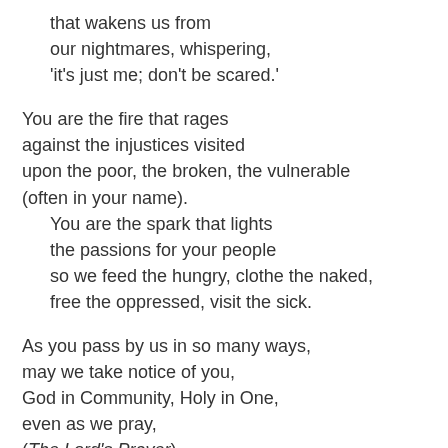that wakens us from
our nightmares, whispering,
'it's just me; don't be scared.'
You are the fire that rages
against the injustices visited
upon the poor, the broken, the vulnerable
(often in your name).
    You are the spark that lights
    the passions for your people
    so we feed the hungry, clothe the naked,
    free the oppressed, visit the sick.
As you pass by us in so many ways,
may we take notice of you,
God in Community, Holy in One,
even as we pray,
(The Lord's Prayer)
Call to Reconciliation
The deepest longing of our hearts is to be forgiven and embraced by our God. As we confess our sins, God speaks